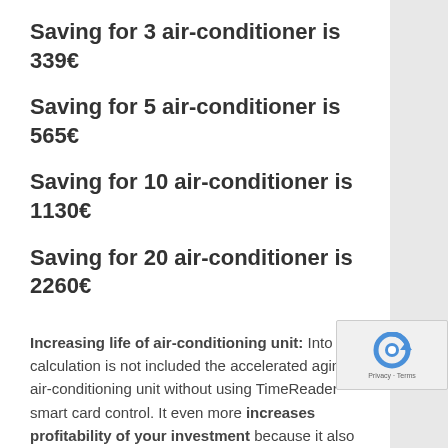Saving for 3 air-conditioner is 339€
Saving for 5 air-conditioner is 565€
Saving for 10 air-conditioner is 1130€
Saving for 20 air-conditioner is 2260€
Increasing life of air-conditioning unit: Into the calculation is not included the accelerated aging of air-conditioning unit without using TimeReader smart card control. It even more increases profitability of your investment because it also increases the operating life of the unit.
*average calculation – you can calculate you own savings based on real numbers